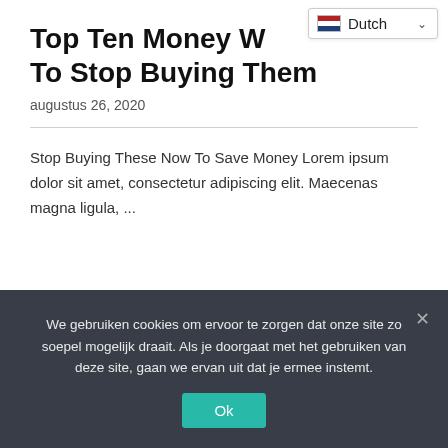Top Ten Money W... To Stop Buying Them
augustus 26, 2020
Stop Buying These Now To Save Money Lorem ipsum dolor sit amet, consectetur adipiscing elit. Maecenas magna ligula, ...
We gebruiken cookies om ervoor te zorgen dat onze site zo soepel mogelijk draait. Als je doorgaat met het gebruiken van deze site, gaan we ervan uit dat je ermee instemt.